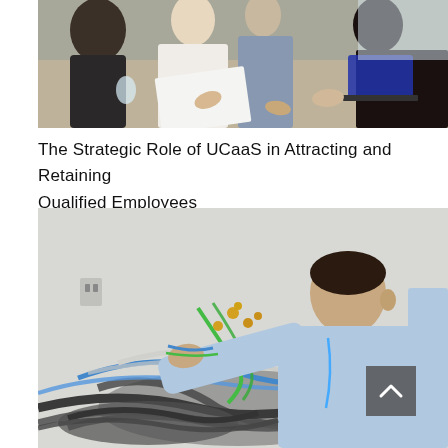[Figure (photo): People gathered around a table working on documents, laptops visible in background, collaborative meeting scene]
The Strategic Role of UCaaS in Attracting and Retaining Qualified Employees
[Figure (photo): Technician working with a large bundle of network cables, sorting through tangled wiring, scroll-to-top button overlay in bottom right]